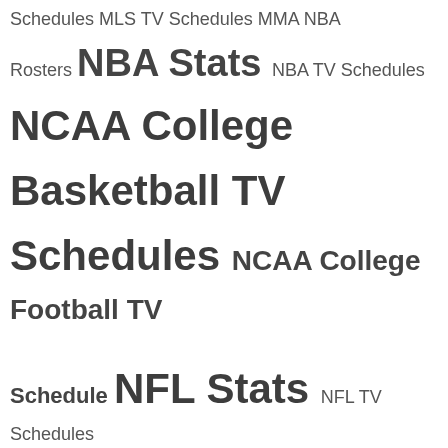Schedules MLS TV Schedules MMA NBA Rosters NBA Stats NBA TV Schedules NCAA College Basketball TV Schedules NCAA College Football TV Schedule NFL Stats NFL TV Schedules NHL Rosters NHL TV Schedules Paddle Boards Running Serie A TV Schedules Skiing Snowboarding Softball Equipment Sports Surfing
[Figure (other): Social media icons: Twitter (bird), Facebook (f), Pinterest (P) in white on black background]
[Figure (infographic): Fan Gear banner with navy background showing sports jerseys and Fanatics logo with Shop Now button]
Sitemap